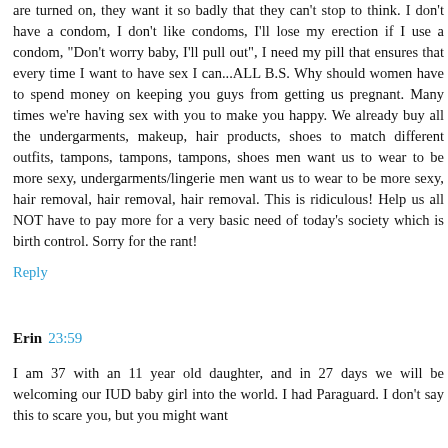are turned on, they want it so badly that they can't stop to think. I don't have a condom, I don't like condoms, I'll lose my erection if I use a condom, "Don't worry baby, I'll pull out", I need my pill that ensures that every time I want to have sex I can...ALL B.S. Why should women have to spend money on keeping you guys from getting us pregnant. Many times we're having sex with you to make you happy. We already buy all the undergarments, makeup, hair products, shoes to match different outfits, tampons, tampons, tampons, shoes men want us to wear to be more sexy, undergarments/lingerie men want us to wear to be more sexy, hair removal, hair removal, hair removal. This is ridiculous! Help us all NOT have to pay more for a very basic need of today's society which is birth control. Sorry for the rant!
Reply
Erin 23:59
I am 37 with an 11 year old daughter, and in 27 days we will be welcoming our IUD baby girl into the world. I had Paraguard. I don't say this to scare you, but you might want